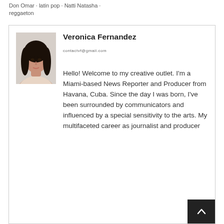Don Omar · latin pop · Natti Natasha · reggaeton
[Figure (photo): Profile photo of Veronica Fernandez, a woman with long dark hair]
Veronica Fernandez
contactvf@gmail.com
Hello! Welcome to my creative outlet. I'm a Miami-based News Reporter and Producer from Havana, Cuba. Since the day I was born, I've been surrounded by communicators and influenced by a special sensitivity to the arts. My multifaceted career as journalist and producer